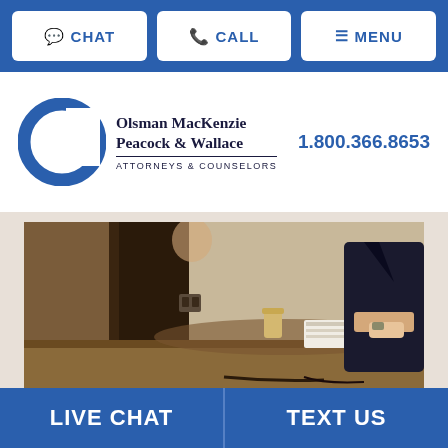CHAT  CALL  MENU
[Figure (logo): Olsman MacKenzie Peacock & Wallace Attorneys & Counselors logo with blue circle/C shape and firm name]
1.800.366.8653
[Figure (photo): Office scene showing two people at a conference table, viewed from behind a monitor or partition, with papers on the table]
LIVE CHAT   TEXT US